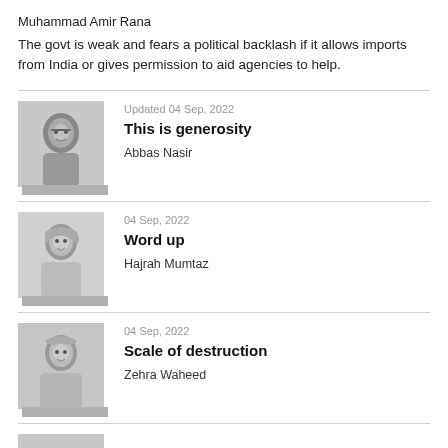Muhammad Amir Rana
The govt is weak and fears a political backlash if it allows imports from India or gives permission to aid agencies to help.
[Figure (photo): Black and white photo of Abbas Nasir, a man with glasses]
Updated 04 Sep, 2022
This is generosity
Abbas Nasir
[Figure (photo): Black and white photo of Hajrah Mumtaz, a woman]
04 Sep, 2022
Word up
Hajrah Mumtaz
[Figure (photo): Black and white photo of Zehra Waheed, a woman]
04 Sep, 2022
Scale of destruction
Zehra Waheed